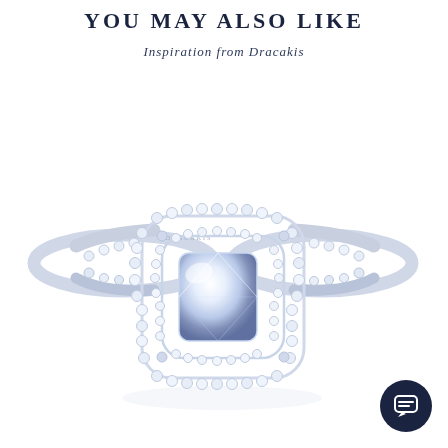YOU MAY ALSO LIKE
Inspiration from Dracakis
[Figure (photo): A diamond engagement ring with a cushion-cut center stone surrounded by a double halo of pavé diamonds, set on a white gold band also adorned with pavé diamonds. The ring band is engraved with 'DRACAKIS'. Photographed on a white background.]